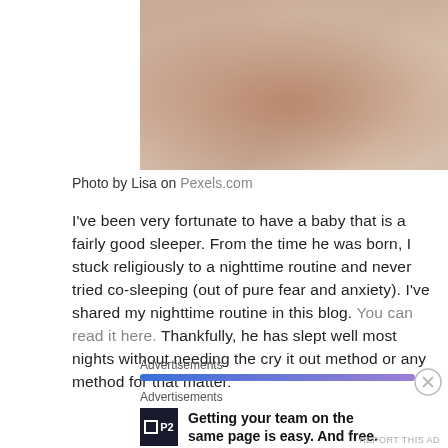[Figure (photo): Close-up photo of hands holding a baby, warm tones, beige/brown background]
Photo by Lisa on Pexels.com
I've been very fortunate to have a baby that is a fairly good sleeper. From the time he was born, I stuck religiously to a nighttime routine and never tried co-sleeping (out of pure fear and anxiety). I've shared my nighttime routine in this blog. You can read it here. Thankfully, he has slept well most nights without needing the cry it out method or any method for that matter.
Advertisements
Advertisements
Getting your team on the same page is easy. And free.